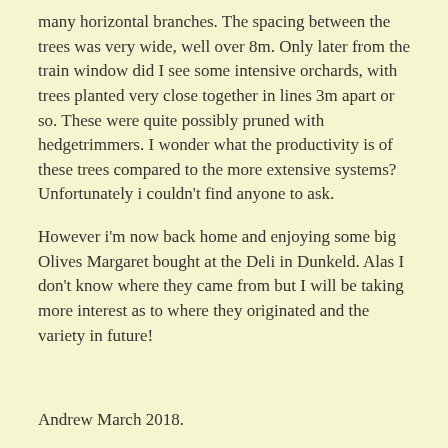many horizontal branches. The spacing between the trees was very wide, well over 8m. Only later from the train window did I see some intensive orchards, with trees planted very close together in lines 3m apart or so. These were quite possibly pruned with hedgetrimmers. I wonder what the productivity is of these trees compared to the more extensive systems? Unfortunately i couldn't find anyone to ask.
However i'm now back home and enjoying some big Olives Margaret bought at the Deli in Dunkeld. Alas I don't know where they came from but I will be taking more interest as to where they originated and the variety in future!
Andrew March 2018.